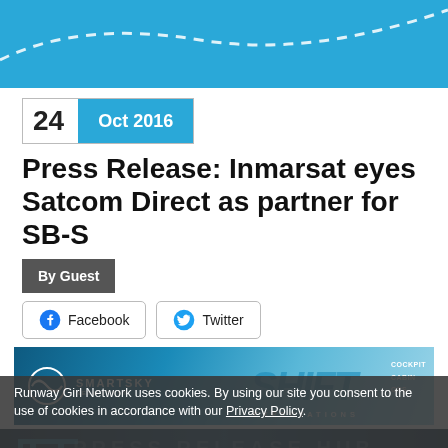[Figure (illustration): Teal/blue header banner with white dashed arc line pattern]
24   Oct 2016
Press Release: Inmarsat eyes Satcom Direct as partner for SB-S
By Guest
Facebook   Twitter
[Figure (photo): SmartSky Networks advertisement banner reading SHIFT EXPECTATIONS with COCKPIT CABIN OPS labels]
[Figure (photo): Press Release Hub advertisement banner partially obscured by cookie consent overlay]
Runway Girl Network uses cookies. By using our site you consent to the use of cookies in accordance with our Privacy Policy.